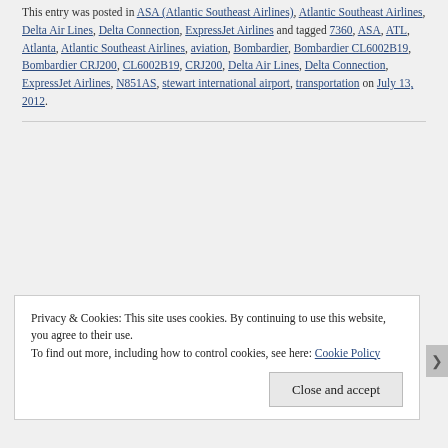This entry was posted in ASA (Atlantic Southeast Airlines), Atlantic Southeast Airlines, Delta Air Lines, Delta Connection, ExpressJet Airlines and tagged 7360, ASA, ATL, Atlanta, Atlantic Southeast Airlines, aviation, Bombardier, Bombardier CL6002B19, Bombardier CRJ200, CL6002B19, CRJ200, Delta Air Lines, Delta Connection, ExpressJet Airlines, N851AS, stewart international airport, transportation on July 13, 2012.
Privacy & Cookies: This site uses cookies. By continuing to use this website, you agree to their use. To find out more, including how to control cookies, see here: Cookie Policy